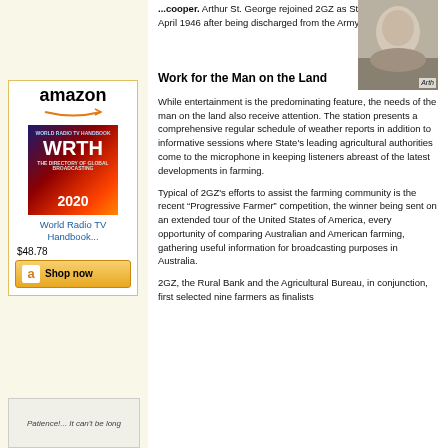...cooper. Arthur St. George rejoined 2GZ as Studio Manager in April 1946 after being discharged from the Army.
[Figure (photo): Portrait photo of Arthur, partially visible at top right. Caption reads 'Arth']
Work for the Man on the Land
While entertainment is the predominating feature, the needs of the man on the land also receive attention. The station presents a comprehensive regular schedule of weather reports in addition to informative sessions where State's leading agricultural authorities come to the microphone in keeping listeners abreast of the latest developments in farming.
Typical of 2GZ's efforts to assist the farming community is the recent “Progressive Farmer” competition, the winner being sent on an extended tour of the United States of America, every opportunity of comparing Australian and American farming, gathering useful information for broadcasting purposes in Australia.
2GZ, the Rural Bank and the Agricultural Bureau, in conjunction, first selected nine farmers as finalists...
[Figure (other): Amazon advertisement box featuring World Radio TV Handbook 2020 book cover, price $48.78, Shop now button]
[Figure (other): Second advertisement at bottom left: 'Patience!... It can't be long']